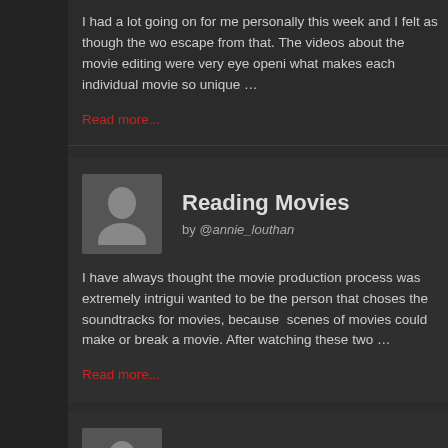I had a lot going on for me personally this week and I felt as though the wo... escape from that. The videos about the movie editing were very eye opening... what makes each individual movie so unique ...
Read more...
Reading Movies
by @annie_louthan
I have always thought the movie production process was extremely intrigui... wanted to be the person that choses the soundtracks for movies, because ... scenes of movies could make or break a movie. After watching these two ...
Read more...
Murder Mystery
by @annie_louthan
This week I chose to do option one out of the two options we had. I started... members if they would like to be a group again and come put with a video c... Maggie, Jack, Henry and I wi"...